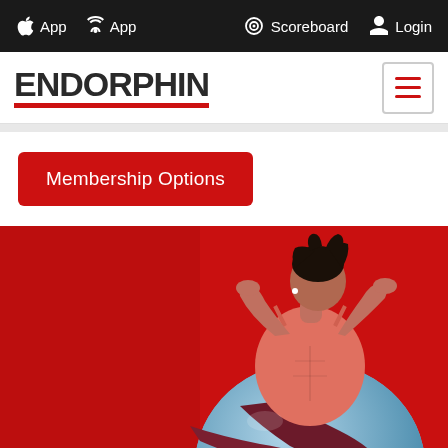App  App  Scoreboard  Login
ENDORPHIN
Membership Options
[Figure (photo): Woman in pink sports top and dark maroon leggings doing crunches/sit-ups on a blue exercise ball against a bright red background]